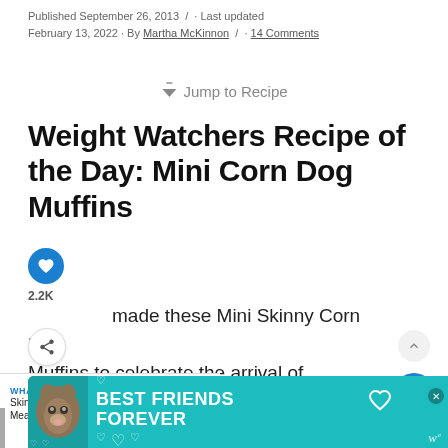Published September 26, 2013 / · Last updated February 13, 2022 · By Martha McKinnon / · 14 Comments
⬇ Jump to Recipe
Weight Watchers Recipe of the Day: Mini Corn Dog Muffins
2.2K
made these Mini Skinny Corn Dog Muffins to celebrate the arrival of
[Figure (screenshot): What's Next promotional banner: Skinny Mini Meatloaf... with food thumbnail image]
[Figure (screenshot): Advertisement banner: Best Friends Forever with cat image, teal background, close button, and w logo]